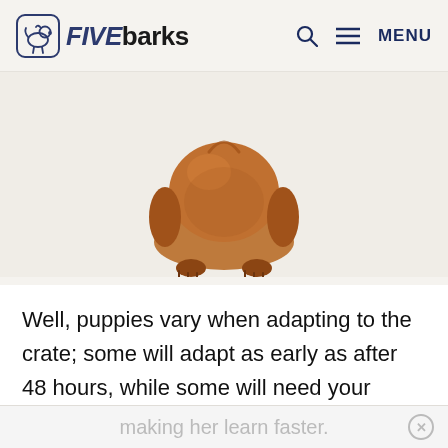FIVEbarks — Q ≡ MENU
[Figure (photo): A dachshund puppy photographed from above, showing the top of its brown/red head, back, and paws against a white background]
Well, puppies vary when adapting to the crate; some will adapt as early as after 48 hours, while some will need your patience. Most puppies get used to the crate after a week. Your consistency and hard work during training play a significant role in
making her learn faster.